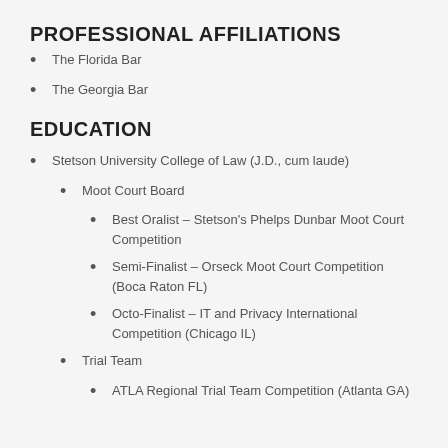PROFESSIONAL AFFILIATIONS
The Florida Bar
The Georgia Bar
EDUCATION
Stetson University College of Law (J.D., cum laude)
Moot Court Board
Best Oralist – Stetson's Phelps Dunbar Moot Court Competition
Semi-Finalist – Orseck Moot Court Competition (Boca Raton FL)
Octo-Finalist – IT and Privacy International Competition (Chicago IL)
Trial Team
ATLA Regional Trial Team Competition (Atlanta GA)